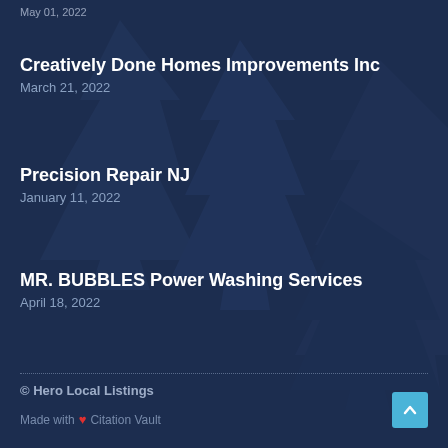May 01, 2022
Creatively Done Homes Improvements Inc
March 21, 2022
Precision Repair NJ
January 11, 2022
MR. BUBBLES Power Washing Services
April 18, 2022
© Hero Local Listings
Made with ❤ Citation Vault